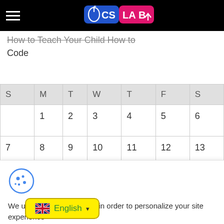CS LAB (logo navigation bar)
How to Teach Your Child How to Code
| S | M | T | W | T | F | S |
| --- | --- | --- | --- | --- | --- | --- |
|  | 1 | 2 | 3 | 4 | 5 | 6 |
| 7 | 8 | 9 | 10 | 11 | 12 | 13 |
| 14 |  |  |  |  |  |  |
| 21 |  |  |  |  |  |  |
| 28 |  |  |  |  |  |  |
| Au |  |  |  |  |  |  |
[Figure (illustration): Cookie icon (blue circle with cookie/dots illustration)]
We use third-party cookies in order to personalize your site experience
Allow | Decline (cookie consent buttons)
English (language selector dropdown)